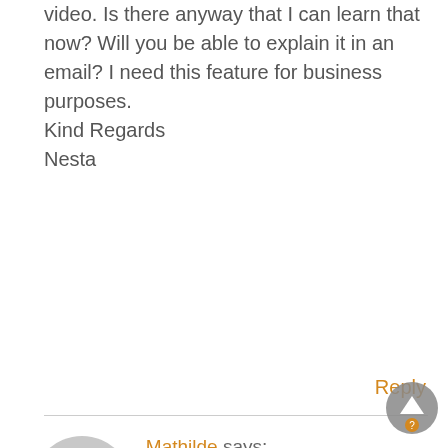video. Is there anyway that I can learn that now? Will you be able to explain it in an email? I need this feature for business purposes. Kind Regards
Nesta
Reply
Mathilde says:
September 28, 2011 at 8:59 am
Nesta,
There are several resources available on recipe costing. First the recipe costing